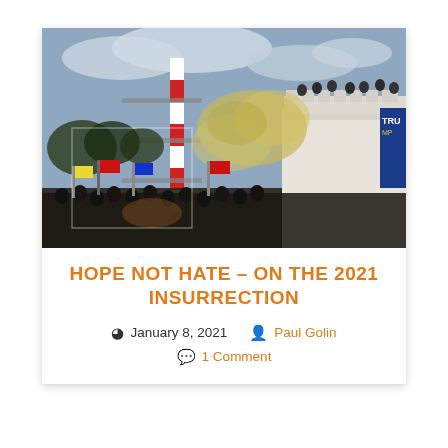[Figure (photo): Crowd scene at the US Capitol during January 6, 2021 insurrection. Crowds with flags including a Trump flag, smoke/tear gas rising, scaffolding with red-white stripes visible, people on top of a white structure.]
HOPE NOT HATE – ON THE 2021 INSURRECTION
January 8, 2021   Paul Golin   1 Comment